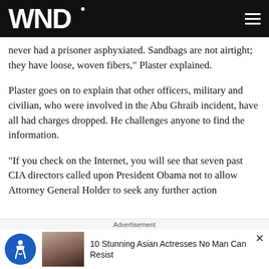WND
never had a prisoner asphyxiated. Sandbags are not airtight; they have loose, woven fibers," Plaster explained.
Plaster goes on to explain that other officers, military and civilian, who were involved in the Abu Ghraib incident, have all had charges dropped. He challenges anyone to find the information.
"If you check on the Internet, you will see that seven past CIA directors called upon President Obama not to allow Attorney General Holder to seek any further action
Advertisement
10 Stunning Asian Actresses No Man Can Resist